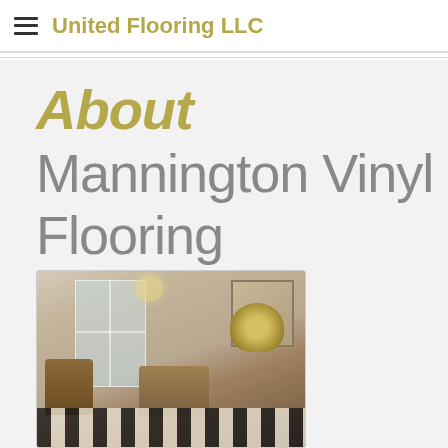United Flooring LLC
About Mannington Vinyl Flooring
[Figure (photo): Interior room photo showing elegant dining/living space with chandelier, French doors, ornate wall art, floral arrangement, upholstered furniture, and black and white checkered vinyl flooring — showcasing Mannington vinyl flooring products]